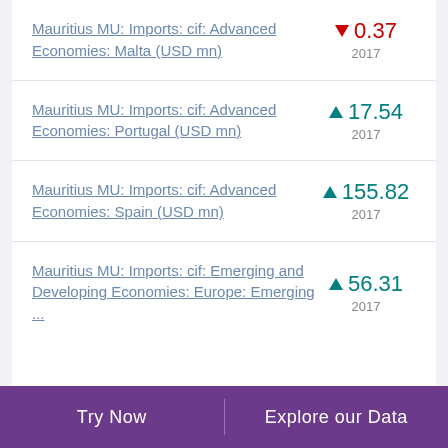Mauritius MU: Imports: cif: Advanced Economies: Malta (USD mn)
Mauritius MU: Imports: cif: Advanced Economies: Portugal (USD mn)
Mauritius MU: Imports: cif: Advanced Economies: Spain (USD mn)
Mauritius MU: Imports: cif: Emerging and Developing Economies: Europe: Emerging ...
Try Now  |  Explore our Data